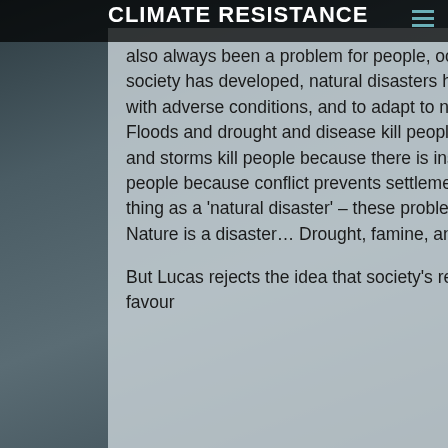CLIMATE RESISTANCE
also always been a problem for people, occasionally killing thousands of people in a stroke. But as society has developed, natural disasters have been mitigated by ingenuity. We have the means to cope with adverse conditions, and to adapt to new ones, opening up many new possibilities for better lives. Floods and drought and disease kill people in regions which are too poor to afford to adapt. Tsunamis and storms kill people because there is insufficient coastal development. Famines and drought kill people because conflict prevents settlement, development, and the transport of aid. There is no such thing as a 'natural disaster' – these problems always have political or economic causes. For humans, Nature is a disaster… Drought, famine, and disease are all 'natural', after all.
But Lucas rejects the idea that society's relationship to the climate is defined by human development in favour